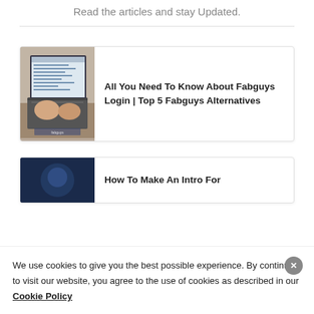Read the articles and stay Updated.
[Figure (photo): Person typing on a laptop with fabguys.com visible on screen]
All You Need To Know About Fabguys Login | Top 5 Fabguys Alternatives
[Figure (photo): Dark blue background image, partially visible]
How To Make An Intro For
We use cookies to give you the best possible experience. By continuing to visit our website, you agree to the use of cookies as described in our Cookie Policy